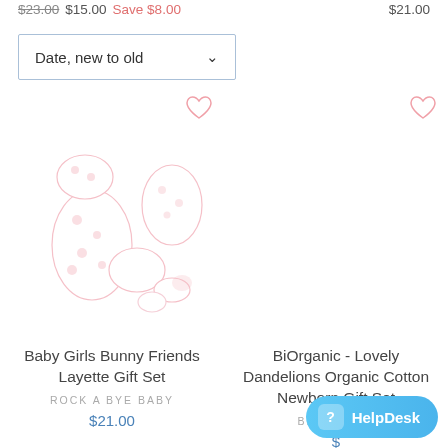$23.00 $15.00 Save $8.00
$21.00
Date, new to old
[Figure (photo): Baby Girls Bunny Friends Layette Gift Set product photo showing onesie, sleepsuit, hat, bib and booties in white with pink bunny print]
Baby Girls Bunny Friends Layette Gift Set
ROCK A BYE BABY
$21.00
[Figure (photo): BiOrganic Lovely Dandelions Organic Cotton Newborn Gift Set product area (mostly blank/not loaded)]
BiOrganic - Lovely Dandelions Organic Cotton Newborn Gift Set
BIORGANIC
$...